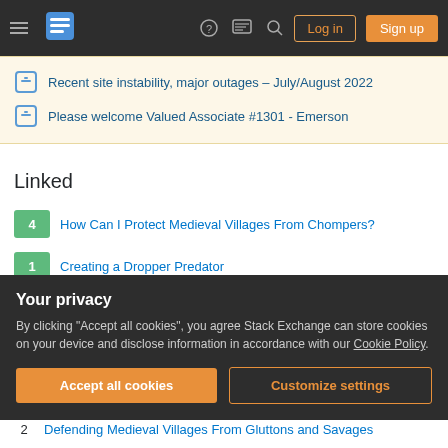Stack Exchange navigation bar with hamburger menu, logo, help, chat, search icons, Log in and Sign up buttons
Recent site instability, major outages – July/August 2022
Please welcome Valued Associate #1301 - Emerson
Linked
4 – How Can I Protect Medieval Villages From Chompers?
1 – Creating a Dropper Predator
4 – Adapting Chompers For Land and Sea
-1 – Utility of Shard Spells
Your privacy
By clicking "Accept all cookies", you agree Stack Exchange can store cookies on your device and disclose information in accordance with our Cookie Policy.
Accept all cookies | Customize settings
2 – Defending Medieval Villages From Gluttons and Savages